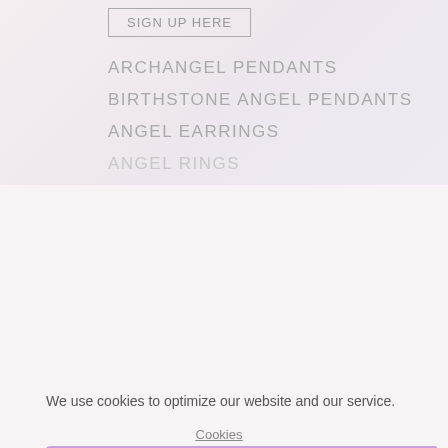SIGN UP HERE
ARCHANGEL PENDANTS
BIRTHSTONE ANGEL PENDANTS
ANGEL EARRINGS
ANGEL RINGS
We use cookies to optimize our website and our service.
Accept
Deny
Preferences
Cookies